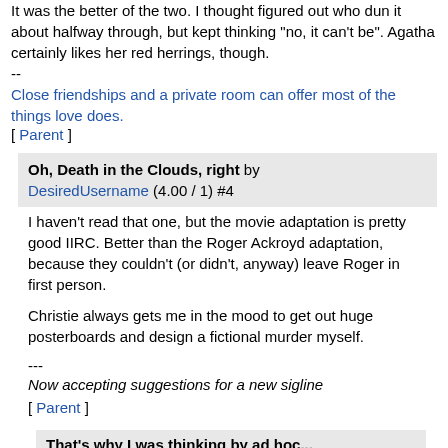It was the better of the two. I thought figured out who dun it about halfway through, but kept thinking "no, it can't be". Agatha certainly likes her red herrings, though.
--
Close friendships and a private room can offer most of the things love does.
[ Parent ]
Oh, Death in the Clouds, right by DesiredUsername (4.00 / 1) #4
I haven't read that one, but the movie adaptation is pretty good IIRC. Better than the Roger Ackroyd adaptation, because they couldn't (or didn't, anyway) leave Roger in first person.
Christie always gets me in the mood to get out huge posterboards and design a fictional murder myself.
---
Now accepting suggestions for a new sigline
[ Parent ]
That's why I was thinking by ad hoc...